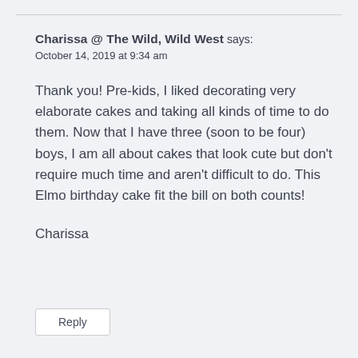Charissa @ The Wild, Wild West says:
October 14, 2019 at 9:34 am
Thank you! Pre-kids, I liked decorating very elaborate cakes and taking all kinds of time to do them. Now that I have three (soon to be four) boys, I am all about cakes that look cute but don't require much time and aren't difficult to do. This Elmo birthday cake fit the bill on both counts!

Charissa
Reply